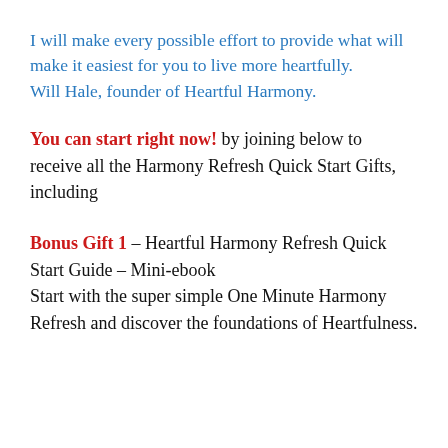I will make every possible effort to provide what will make it easiest for you to live more heartfully.
Will Hale, founder of Heartful Harmony.
You can start right now! by joining below to receive all the Harmony Refresh Quick Start Gifts, including
Bonus Gift 1 – Heartful Harmony Refresh Quick Start Guide – Mini-ebook
Start with the super simple One Minute Harmony Refresh and discover the foundations of Heartfulness.